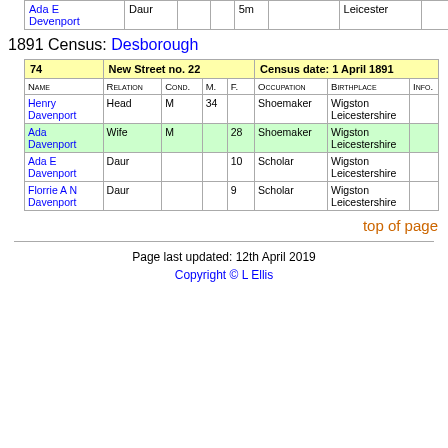| Name | Relation | Cond. | M. | F. | Occupation | Birthplace | Info. |
| --- | --- | --- | --- | --- | --- | --- | --- |
| Ada E Davenport | Daur |  |  | 5m |  | Leicester |  |
1891 Census: Desborough
| 74 New Street no. 22 | Census date: 1 April 1891 |
| --- | --- |
| Name | Relation | Cond. | M. | F. | Occupation | Birthplace | Info. |
| Henry Davenport | Head | M | 34 |  | Shoemaker | Wigston Leicestershire |  |
| Ada Davenport | Wife | M |  | 28 | Shoemaker | Wigston Leicestershire |  |
| Ada E Davenport | Daur |  |  | 10 | Scholar | Wigston Leicestershire |  |
| Florrie A N Davenport | Daur |  |  | 9 | Scholar | Wigston Leicestershire |  |
top of page
Page last updated: 12th April 2019
Copyright © L Ellis